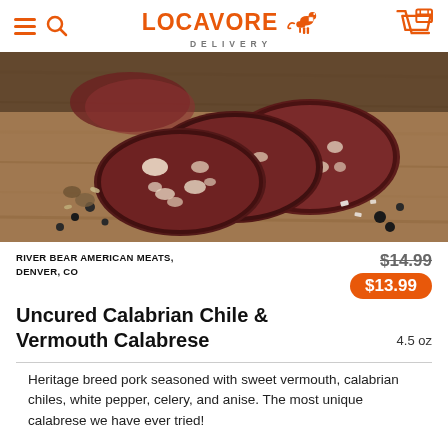LOCAVORE DELIVERY
[Figure (photo): Sliced uncured salami/calabrese sausage on a wooden cutting board with black pepper and spices scattered around.]
RIVER BEAR AMERICAN MEATS, DENVER, CO
$14.99  $13.99  4.5 oz
Uncured Calabrian Chile & Vermouth Calabrese
Heritage breed pork seasoned with sweet vermouth, calabrian chiles, white pepper, celery, and anise. The most unique calabrese we have ever tried!